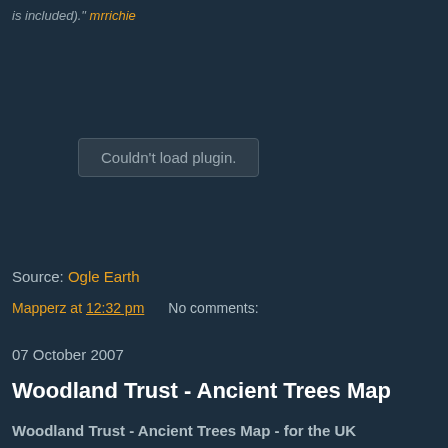is included)." mrrichie
[Figure (screenshot): Plugin error box showing 'Couldn't load plugin.' message on dark background]
Source: Ogle Earth
Mapperz at 12:32 pm    No comments:
07 October 2007
Woodland Trust - Ancient Trees Map
Woodland Trust - Ancient Trees Map - for the UK